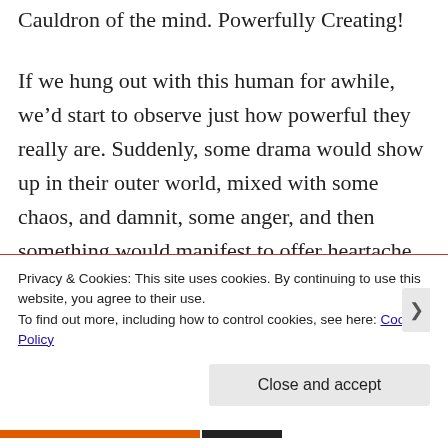Cauldron of the mind. Powerfully Creating!
If we hung out with this human for awhile, we’d start to observe just how powerful they really are. Suddenly, some drama would show up in their outer world, mixed with some chaos, and damnit, some anger, and then something would manifest to offer heartache and pain. We’d observe them making choices to continue their uncomfortably-comfortable cycle of Shame. And Boom, add a little loss and
Privacy & Cookies: This site uses cookies. By continuing to use this website, you agree to their use.
To find out more, including how to control cookies, see here: Cookie Policy
Close and accept